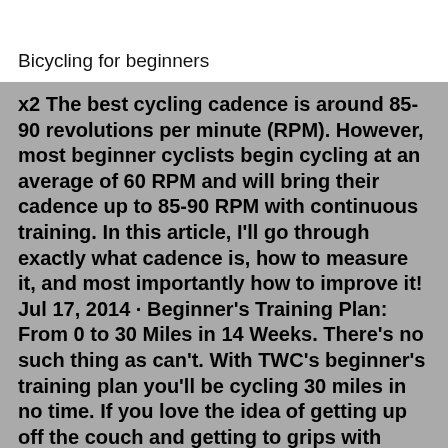Bicycling for beginners
x2 The best cycling cadence is around 85-90 revolutions per minute (RPM). However, most beginner cyclists begin cycling at an average of 60 RPM and will bring their cadence up to 85-90 RPM with continuous training. In this article, I'll go through exactly what cadence is, how to measure it, and most importantly how to improve it! Jul 17, 2014 · Beginner's Training Plan: From 0 to 30 Miles in 14 Weeks. There's no such thing as can't. With TWC's beginner's training plan you'll be cycling 30 miles in no time. If you love the idea of getting up off the couch and getting to grips with cycling but have no idea where to start, we have just the training plan for you. Aug 21, 2022 · 20 km is a great target for a number of reasons. Firstly, a tough but achievable target cycling pace for most beginners is to average about 20 kilometers per hour, so the Couch to 20k